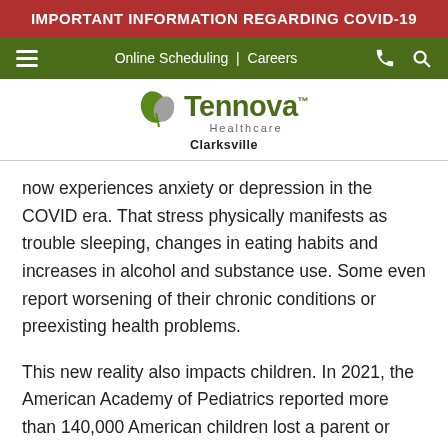IMPORTANT INFORMATION REGARDING COVID-19
[Figure (logo): Tennova Healthcare Clarksville logo with green leaf icon]
now experiences anxiety or depression in the COVID era. That stress physically manifests as trouble sleeping, changes in eating habits and increases in alcohol and substance use. Some even report worsening of their chronic conditions or preexisting health problems.
This new reality also impacts children. In 2021, the American Academy of Pediatrics reported more than 140,000 American children lost a parent or grandparent to the coronavirus. From March to October 2020, ER visits for kids in mental health